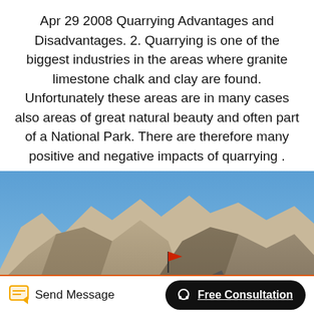Apr 29 2008 Quarrying Advantages and Disadvantages. 2. Quarrying is one of the biggest industries in the areas where granite limestone chalk and clay are found. Unfortunately these areas are in many cases also areas of great natural beauty and often part of a National Park. There are therefore many positive and negative impacts of quarrying .
[Figure (photo): Photograph of a quarry operation with industrial machinery and conveyor belts in the foreground, large rocky mountains in the background under a clear blue sky, with a red flag visible on the mountainside.]
Send Message   Free Consultation